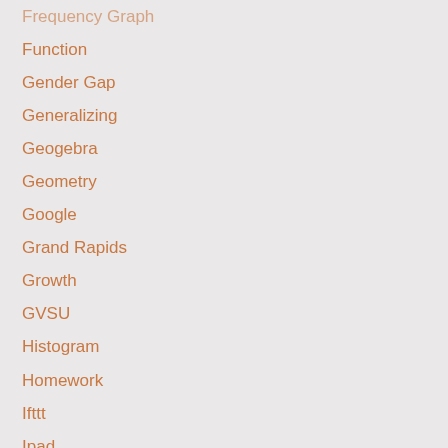Frequency Graph
Function
Gender Gap
Generalizing
Geogebra
Geometry
Google
Grand Rapids
Growth
GVSU
Histogram
Homework
Ifttt
Ipad
Journey
Laptop
Light Bulbs
Limerick
Linear
MACHI